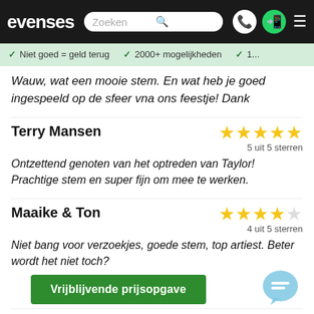evenses — Zoeken [search bar] [phone icon] [whatsapp icon] [menu icon]
✓ Niet goed = geld terug  ✓ 2000+ mogelijkheden  ✓ 1...
Wauw, wat een mooie stem. En wat heb je goed ingespeeld op de sfeer vna ons feestje! Dank
Terry Mansen
5 uit 5 sterren
Ontzettend genoten van het optreden van Taylor! Prachtige stem en super fijn om mee te werken.
Maaike & Ton
4 uit 5 sterren
Niet bang voor verzoekjes, goede stem, top artiest. Beter wordt het niet toch?
Vrijblijvende prijsopgave
Isa van den Top –